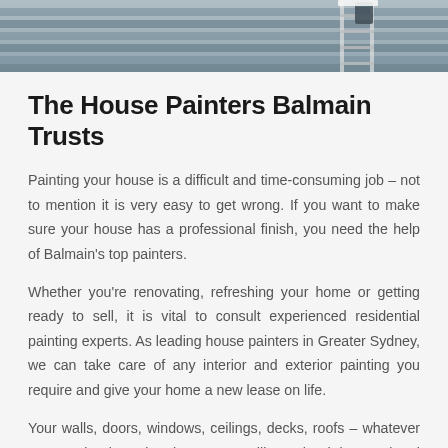[Figure (photo): Partial photo of a house exterior with siding and what appears to be painting equipment visible at top of page]
The House Painters Balmain Trusts
Painting your house is a difficult and time-consuming job – not to mention it is very easy to get wrong. If you want to make sure your house has a professional finish, you need the help of Balmain's top painters.
Whether you're renovating, refreshing your home or getting ready to sell, it is vital to consult experienced residential painting experts. As leading house painters in Greater Sydney, we can take care of any interior and exterior painting you require and give your home a new lease on life.
Your walls, doors, windows, ceilings, decks, roofs – whatever you need to be painted, our team will see that it is completed to the very last intricate detail.